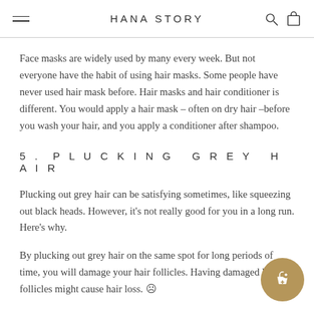HANA STORY
Face masks are widely used by many every week. But not everyone have the habit of using hair masks. Some people have never used hair mask before. Hair masks and hair conditioner is different. You would apply a hair mask – often on dry hair –before you wash your hair, and you apply a conditioner after shampoo.
5. PLUCKING GREY HAIR
Plucking out grey hair can be satisfying sometimes, like squeezing out black heads. However, it's not really good for you in a long run. Here's why.
By plucking out grey hair on the same spot for long periods of time, you will damage your hair follicles. Having damaged hair follicles might cause hair loss. ☹